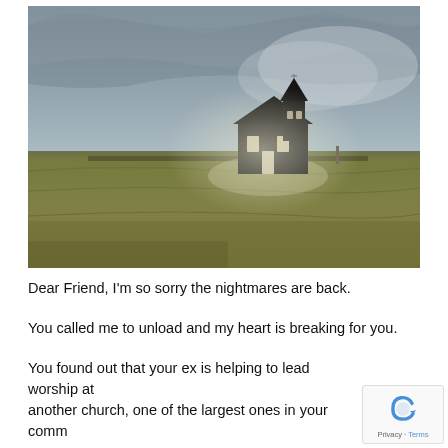[Figure (photo): Photograph of a small dark/black wooden church with a steeple, standing alone in a wide flat grassy field under a dramatic overcast sky with light breaking through clouds.]
Dear Friend, I'm so sorry the nightmares are back.
You called me to unload and my heart is breaking for you.
You found out that your ex is helping to lead worship at another church, one of the largest ones in your comm